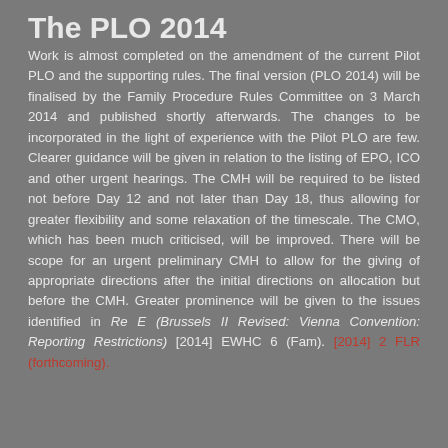The PLO 2014
Work is almost completed on the amendment of the current Pilot PLO and the supporting rules. The final version (PLO 2014) will be finalised by the Family Procedure Rules Committee on 3 March 2014 and published shortly afterwards. The changes to be incorporated in the light of experience with the Pilot PLO are few. Clearer guidance will be given in relation to the listing of EPO, ICO and other urgent hearings. The CMH will be required to be listed not before Day 12 and not later than Day 18, thus allowing for greater flexibility and some relaxation of the timescale. The CMO, which has been much criticised, will be improved. There will be scope for an urgent preliminary CMH to allow for the giving of appropriate directions after the initial directions on allocation but before the CMH. Greater prominence will be given to the issues identified in Re E (Brussels II Revised: Vienna Convention: Reporting Restrictions) [2014] EWHC 6 (Fam). [2014] 2 FLR (forthcoming).